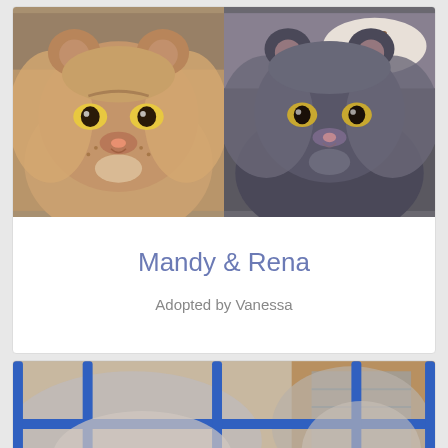[Figure (photo): Two Persian cats side by side: left cat is golden/tan colored with yellow eyes looking at camera, right cat is dark grey/tortoiseshell with yellow eyes looking at camera near a food bowl]
Mandy & Rena
Adopted by Vanessa
[Figure (photo): Partial photo showing what appears to be cats behind blue metal cage bars, with blurred background]